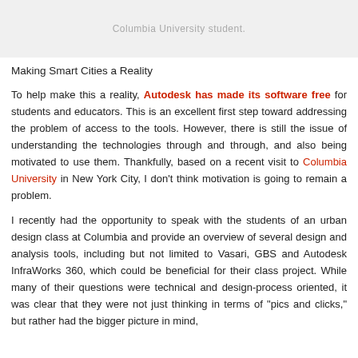[Figure (other): Gray header banner with partially visible text 'Columbia University student.']
Making Smart Cities a Reality
To help make this a reality, Autodesk has made its software free for students and educators. This is an excellent first step toward addressing the problem of access to the tools. However, there is still the issue of understanding the technologies through and through, and also being motivated to use them. Thankfully, based on a recent visit to Columbia University in New York City, I don't think motivation is going to remain a problem.
I recently had the opportunity to speak with the students of an urban design class at Columbia and provide an overview of several design and analysis tools, including but not limited to Vasari, GBS and Autodesk InfraWorks 360, which could be beneficial for their class project. While many of their questions were technical and design-process oriented, it was clear that they were not just thinking in terms of "pics and clicks," but rather had the bigger picture in mind,